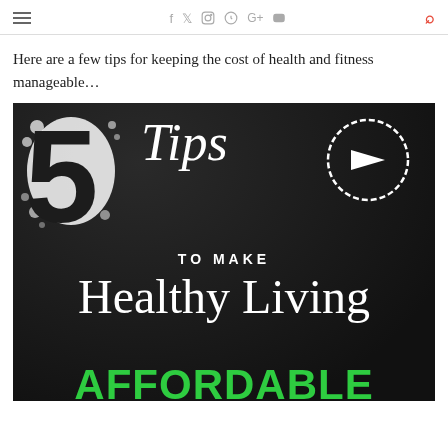≡  f  Twitter  Instagram  Pinterest  G+  YouTube  🔍
Here are a few tips for keeping the cost of health and fitness manageable…
[Figure (infographic): Infographic on dark chalkboard background showing '5 Tips TO MAKE Healthy Living AFFORDABLE' with a large white number 5, italic 'Tips' text, a hand-drawn circle with right-arrow icon, and green 'AFFORDABLE' text at the bottom]